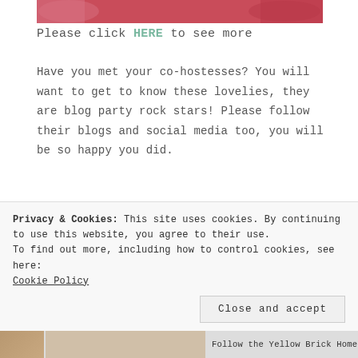[Figure (photo): Partial top image showing a decorative plate with floral/bird motif on pinkish-red background]
Please click HERE to see more
Have you met your co-hostesses? You will want to get to know these lovelies, they are blog party rock stars! Please follow their blogs and social media too, you will be so happy you did.
[Figure (photo): Blog banner showing Katherine from Katherine's Corner on the left side (portrait photo with script name overlay) and Thursday Favorite Things text on the right side with floral background]
Privacy & Cookies: This site uses cookies. By continuing to use this website, you agree to their use.
To find out more, including how to control cookies, see here:
Cookie Policy
Close and accept
[Figure (photo): Bottom bar showing partial images including a person portrait and 'Follow the Yellow Brick Home' text]